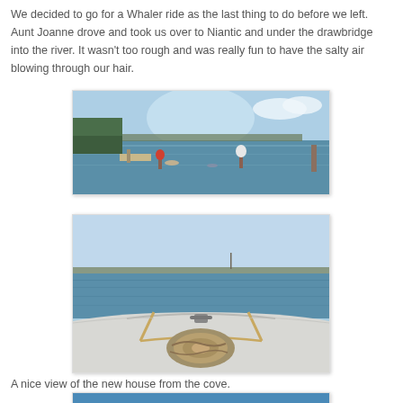We decided to go for a Whaler ride as the last thing to do before we left. Aunt Joanne drove and took us over to Niantic and under the drawbridge into the river. It wasn't too rough and was really fun to have the salty air blowing through our hair.
[Figure (photo): Panoramic view from the water showing a marina/dock area with boats, calm water, and blue sky.]
[Figure (photo): View from the bow of a Boston Whaler boat looking out over open water toward a distant shoreline, with rope coiled on the deck.]
A nice view of the new house from the cove.
[Figure (photo): Partial view of the beginning of a third photo, showing blue sky/water.]